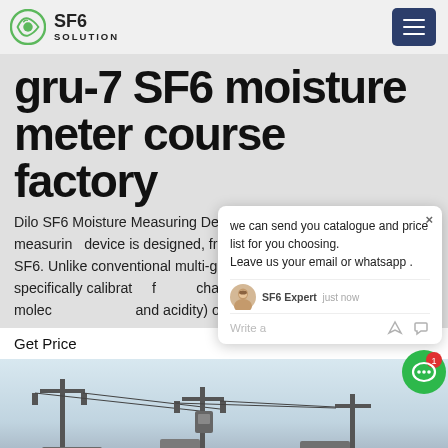SF6 SOLUTION
gru-7 SF6 moisture meter course factory
Dilo SF6 Moisture Measuring Device. The 3-037-R002 moisture measuring device is designed, from the ground up, to be used for SF6. Unlike conventional multi-gas devices, the 3-037 is specifically calibrated for the characteristics (i.e. densities, molecular weights, and acidity) of faulted SF6.
Get Price
[Figure (screenshot): Chat popup showing message: we can send you catalogue and price list for you choosing. Leave us your email or whatsapp. SF6 Expert · just now. Write a message area.]
[Figure (photo): Outdoor photo of electrical power line equipment / substation infrastructure against a light sky background.]